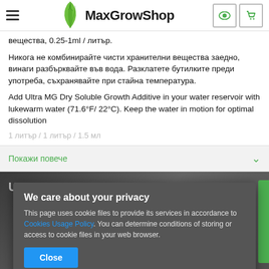MaxGrowShop
вещества, 0.25-1ml / литър.
Никога не комбинирайте чисти хранителни вещества заедно, винаги разбърквайте във вода. Разклатете бутилките преди употреба, съхранявайте при стайна температура.
Add Ultra MG Dry Soluble Growth Additive in your water reservoir with lukewarm water (71.6°F/ 22°C). Keep the water in motion for optimal dissolution
Покажи повече
We care about your privacy
This page uses cookie files to provide its services in accordance to Cookies Usage Policy. You can determine conditions of storing or access to cookie files in your web browser.
Close